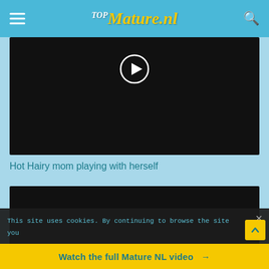TOP Mature.nl
[Figure (screenshot): Black video player thumbnail with circular play button overlay]
Hot Hairy mom playing with herself
[Figure (screenshot): Second black video player thumbnail]
This site uses cookies. By continuing to browse the site you
Watch the full Mature NL video →